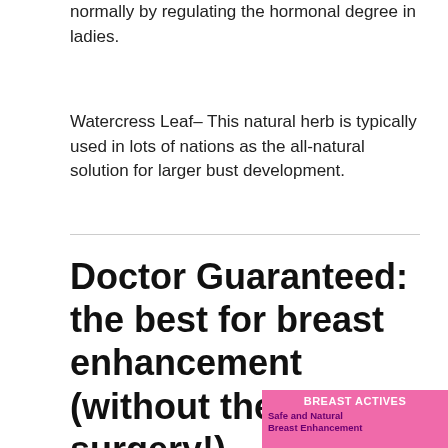normally by regulating the hormonal degree in ladies.
Watercress Leaf– This natural herb is typically used in lots of nations as the all-natural solution for larger bust development.
Doctor Guaranteed: the best for breast enhancement (without the surgery!)
[Figure (illustration): Pink advertisement box for Breast Actives product showing 'BREAST ACTIVES' text in white on pink background and 'Safe and Natural Breast Enhancement' in dark purple text]